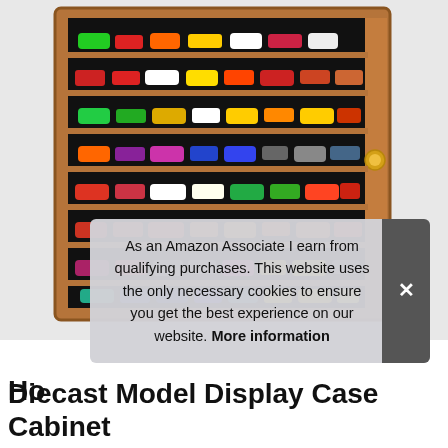[Figure (photo): A wooden display case cabinet with multiple shelves filled with diecast model toy cars in various colors, shown against a white background. The cabinet has a black interior and a gold knob on the right side.]
As an Amazon Associate I earn from qualifying purchases. This website uses the only necessary cookies to ensure you get the best experience on our website. More information
Ho
Diecast Model Display Case Cabinet